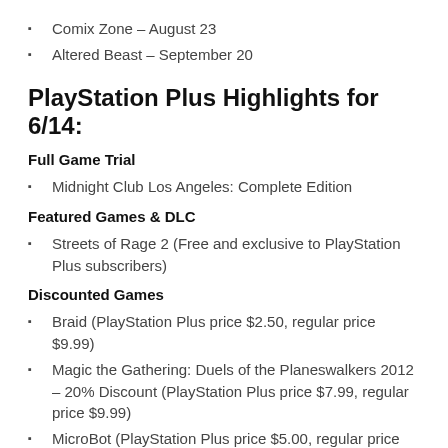Comix Zone – August 23
Altered Beast – September 20
PlayStation Plus Highlights for 6/14:
Full Game Trial
Midnight Club Los Angeles: Complete Edition
Featured Games & DLC
Streets of Rage 2 (Free and exclusive to PlayStation Plus subscribers)
Discounted Games
Braid (PlayStation Plus price $2.50, regular price $9.99)
Magic the Gathering: Duels of the Planeswalkers 2012 – 20% Discount (PlayStation Plus price $7.99, regular price $9.99)
MicroBot (PlayStation Plus price $5.00, regular price $9.99)